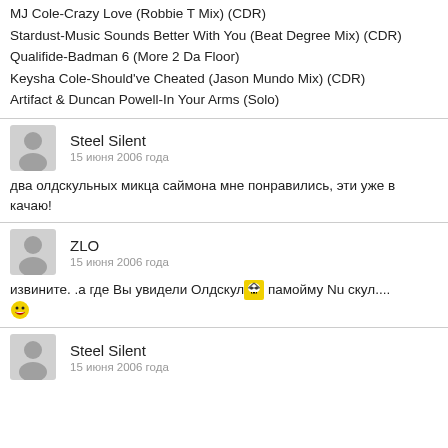MJ Cole-Crazy Love (Robbie T Mix) (CDR)
Stardust-Music Sounds Better With You (Beat Degree Mix) (CDR)
Qualifide-Badman 6 (More 2 Da Floor)
Keysha Cole-Should've Cheated (Jason Mundo Mix) (CDR)
Artifact & Duncan Powell-In Your Arms (Solo)
Steel Silent
15 июня 2006 года
два олдскульных микца саймона мне понравились, эти уже в качаю!
ZLO
15 июня 2006 года
извините. .а где Вы увидели Олдскул [emoji] памойму Nu скул.... [emoji]
Steel Silent
15 июня 2006 года